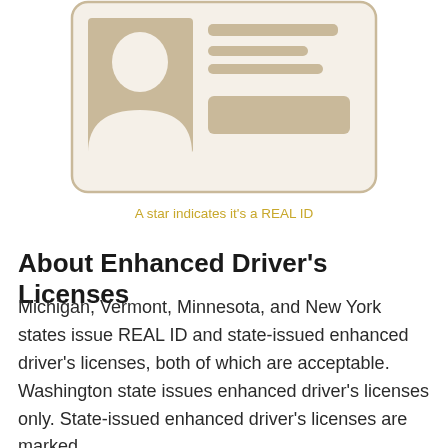[Figure (illustration): Illustration of a driver's license / ID card with a silhouette photo placeholder on the left and text lines and a rectangular bar on the right. The card has a rounded rectangle border in tan/beige color.]
A star indicates it's a REAL ID
About Enhanced Driver's Licenses
Michigan, Vermont, Minnesota, and New York states issue REAL ID and state-issued enhanced driver's licenses, both of which are acceptable. Washington state issues enhanced driver's licenses only. State-issued enhanced driver's licenses are marked